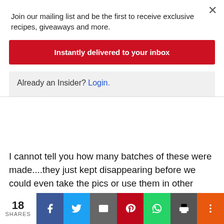Join our mailing list and be the first to receive exclusive recipes, giveaways and more.
Instantly delivered to your inbox
Already an Insider? Login.
I cannot tell you how many batches of these were made....they just kept disappearing before we could even take the pics or use them in other things. DELICIOUS...be warned. They would make a beautiful gift tied up in heaps of ribbon and cellophane.
They are also awesome as an addition for ice cream, in cereal with icy cold milk, straight from the freezer as a
18 SHARES